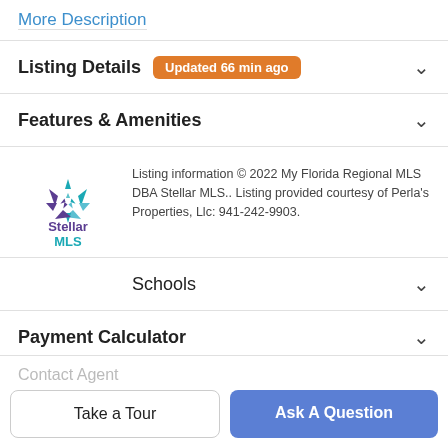More Description
Listing Details  Updated 66 min ago
Features & Amenities
Listing information © 2022 My Florida Regional MLS DBA Stellar MLS.. Listing provided courtesy of Perla's Properties, Llc: 941-242-9903.
Schools
Payment Calculator
Contact Agent
Take a Tour
Ask A Question